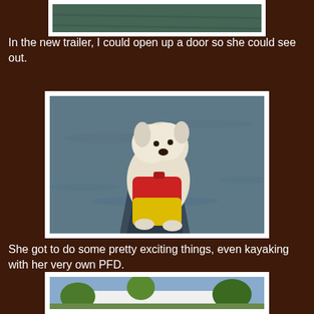[Figure (photo): Top partial photo of a dog looking out a trailer window, only the bottom portion visible]
In the new trailer, I could open up a door so she could see out.
[Figure (photo): A small white West Highland Terrier dog sitting at the bow of a kayak on a lake, wearing a red and yellow life jacket (PFD)]
She got to do some pretty exciting things, even kayaking with her very own PFD.
[Figure (photo): Bottom partial photo showing a campground or outdoor scene with trees and a white structure, only the top portion visible]